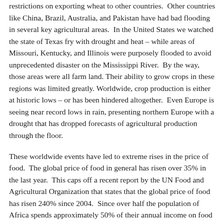restrictions on exporting wheat to other countries. Other countries like China, Brazil, Australia, and Pakistan have had bad flooding in several key agricultural areas. In the United States we watched the state of Texas fry with drought and heat – while areas of Missouri, Kentucky, and Illinois were purposely flooded to avoid unprecedented disaster on the Mississippi River. By the way, those areas were all farm land. Their ability to grow crops in these regions was limited greatly. Worldwide, crop production is either at historic lows – or has been hindered altogether. Even Europe is seeing near record lows in rain, presenting northern Europe with a drought that has dropped forecasts of agricultural production through the floor.
These worldwide events have led to extreme rises in the price of food. The global price of food in general has risen over 35% in the last year. This caps off a recent report by the UN Food and Agricultural Organization that states that the global price of food has risen 240% since 2004. Since over half the population of Africa spends approximately 50% of their annual income on food alone – rising prices like these will quickly outstrip their ability to buy food at all. That is why in Kenya, Djibouti, Somalia, Uganda, and Egypt there have